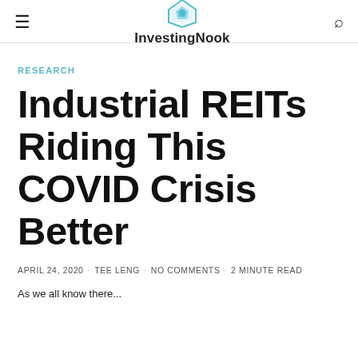≡  InvestingNook  🔍
RESEARCH
Industrial REITs Riding This COVID Crisis Better
APRIL 24, 2020 · TEE LENG · NO COMMENTS · 2 MINUTE READ
As we all know there...